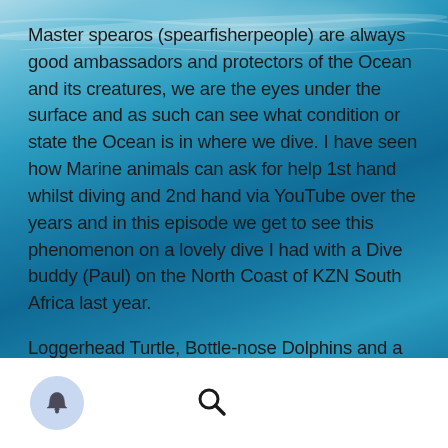[Figure (photo): Underwater ocean background with blue-green teal water and light reflections on surface]
Master spearos (spearfisherpeople) are always good ambassadors and protectors of the Ocean and its creatures, we are the eyes under the surface and as such can see what condition or state the Ocean is in where we dive. I have seen how Marine animals can ask for help 1st hand whilst diving and 2nd hand via YouTube over the years and in this episode we get to see this phenomenon on a lovely dive I had with a Dive buddy (Paul) on the North Coast of KZN South Africa last year.
Loggerhead Turtle, Bottle-nose Dolphins and a Giant Manta ray all in one epic dive! The largest of all hard shelled turtles, Loggerheads are named for their massive heads and powerful jaws (leatherbacks are bigger but have
[Figure (screenshot): Mobile app bottom navigation bar with a bell/notification icon (blue circle) on the left and a search magnifying glass icon in the center]